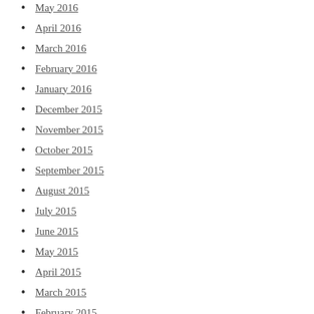May 2016
April 2016
March 2016
February 2016
January 2016
December 2015
November 2015
October 2015
September 2015
August 2015
July 2015
June 2015
May 2015
April 2015
March 2015
February 2015
January 2015